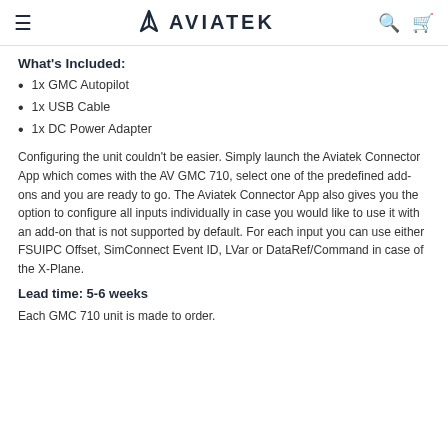AVIATEK
What's Included:
1x GMC Autopilot
1x USB Cable
1x DC Power Adapter
Configuring the unit couldn't be easier. Simply launch the Aviatek Connector App which comes with the AV GMC 710, select one of the predefined add-ons and you are ready to go. The Aviatek Connector App also gives you the option to configure all inputs individually in case you would like to use it with an add-on that is not supported by default. For each input you can use either FSUIPC Offset, SimConnect Event ID, LVar or DataRef/Command in case of the X-Plane.
Lead time: 5-6 weeks
Each GMC 710 unit is made to order.